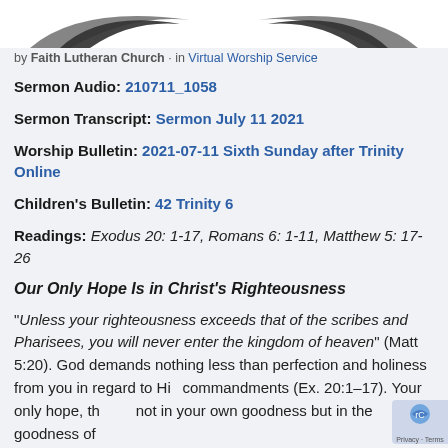[Figure (logo): Faith Lutheran Church logo/banner at top of page with decorative wings or swoosh design on white background]
by Faith Lutheran Church · in Virtual Worship Service
Sermon Audio: 210711_1058
Sermon Transcript: Sermon July 11 2021
Worship Bulletin: 2021-07-11 Sixth Sunday after Trinity Online
Children's Bulletin: 42 Trinity 6
Readings: Exodus 20: 1-17, Romans 6: 1-11, Matthew 5: 17-26
Our Only Hope Is in Christ's Righteousness
"Unless your righteousness exceeds that of the scribes and Pharisees, you will never enter the kingdom of heaven" (Matt 5:20). God demands nothing less than perfection and holiness from you in regard to His commandments (Ex. 20:1–17). Your only hope, th not in your own goodness but in the goodness of